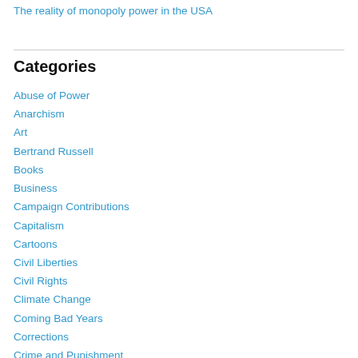The reality of monopoly power in the USA
Categories
Abuse of Power
Anarchism
Art
Bertrand Russell
Books
Business
Campaign Contributions
Capitalism
Cartoons
Civil Liberties
Civil Rights
Climate Change
Coming Bad Years
Corrections
Crime and Punishment